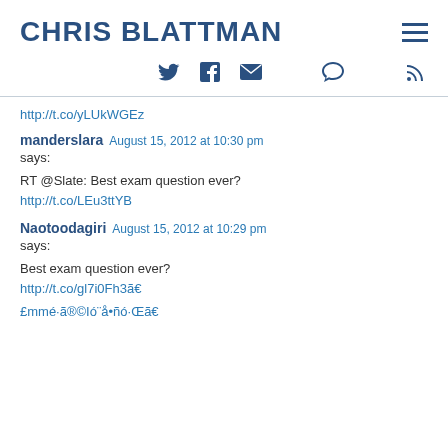CHRIS BLATTMAN
http://t.co/yLUkWGEz
manderslara  August 15, 2012 at 10:30 pm
says:

RT @Slate: Best exam question ever?
http://t.co/LEu3ttYB
Naotoodagiri  August 15, 2012 at 10:29 pm
says:

Best exam question ever?
http://t.co/gl7i0Fh3ã€